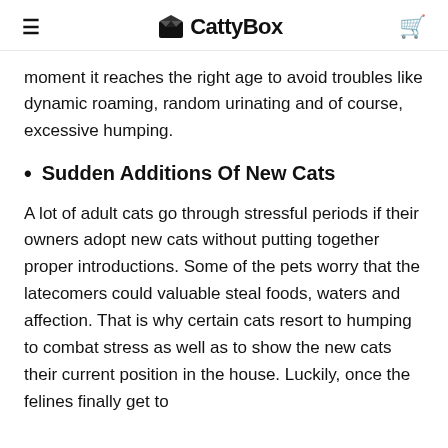CattyBox
moment it reaches the right age to avoid troubles like dynamic roaming, random urinating and of course, excessive humping.
Sudden Additions Of New Cats
A lot of adult cats go through stressful periods if their owners adopt new cats without putting together proper introductions. Some of the pets worry that the latecomers could valuable steal foods, waters and affection. That is why certain cats resort to humping to combat stress as well as to show the new cats their current position in the house. Luckily, once the felines finally get to